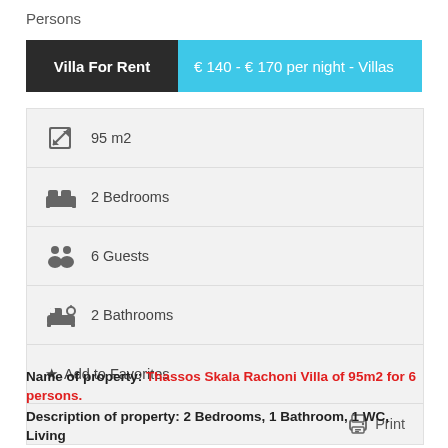Persons
Villa For Rent   € 140 - € 170 per night - Villas
95 m2
2 Bedrooms
6 Guests
2 Bathrooms
★ Add to Favorites
Print
Name of property: Thassos Skala Rachoni Villa of 95m2 for 6 persons.
Description of property: 2 Bedrooms, 1 Bathroom, 1 WC, Living